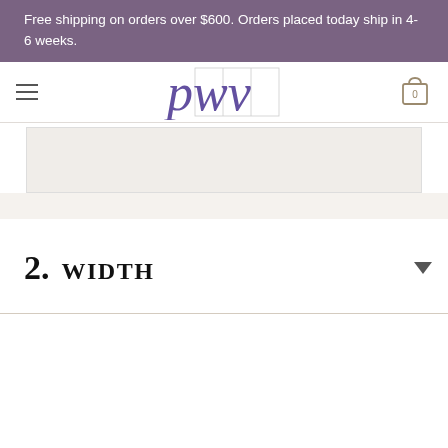Free shipping on orders over $600. Orders placed today ship in 4-6 weeks.
[Figure (logo): PWV logo in purple italic serif font with grid overlay]
2. Width